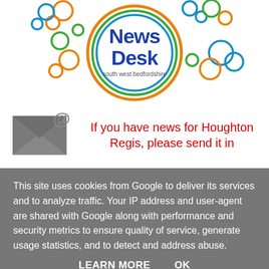[Figure (logo): News Desk south west bedfordshire logo — circular design with colorful rings (blue, green, orange) and decorative colored bubbles/circles around it. Bold blue text 'News Desk' inside the circle with 'south west bedfordshire' below.]
[Figure (illustration): Grey email envelope icon with an @ symbol, representing a contact/news submission prompt.]
If you have news for Houghton Regis, please send it in
This site uses cookies from Google to deliver its services and to analyze traffic. Your IP address and user-agent are shared with Google along with performance and security metrics to ensure quality of service, generate usage statistics, and to detect and address abuse.
LEARN MORE   OK